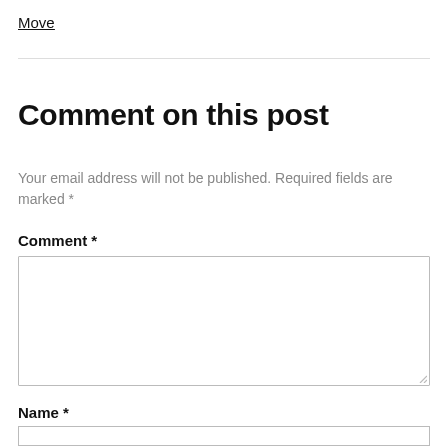Move
Comment on this post
Your email address will not be published. Required fields are marked *
Comment *
Name *